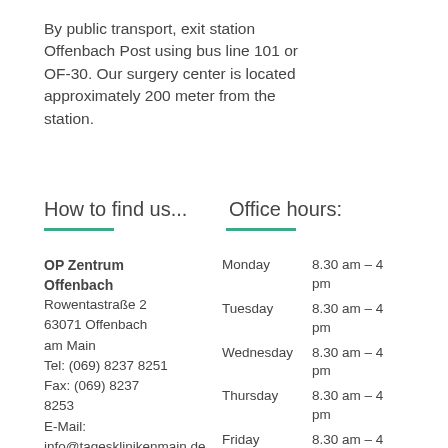By public transport, exit station Offenbach Post using bus line 101 or OF-30. Our surgery center is located approximately 200 meter from the station.
How to find us...
Office hours:
OP Zentrum Offenbach
Rowentastraße 2
63071 Offenbach am Main
Tel: (069) 8237 8251
Fax: (069) 8237 8253
E-Mail: info@tagesklinikenmain.de
| Day | Hours |
| --- | --- |
| Monday | 8.30 am – 4 pm |
| Tuesday | 8.30 am – 4 pm |
| Wednesday | 8.30 am – 4 pm |
| Thursday | 8.30 am – 4 pm |
| Friday | 8.30 am – 4 pm |